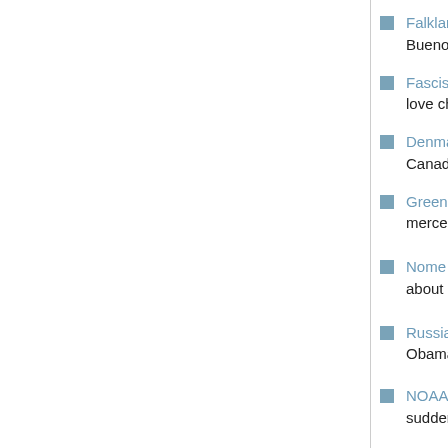Falkland Islanders reject warming UK-Argentina Buenos Aires deal.
Fascist Macri falsely touts sovereignty agreement, love child of General Galtieri.
Denmark and Canada square off against Russia, Canadian sabre-rattling.
Greenland and Canadian Inuit demand control of mercenary forces, like the Dakota Sioux are no...
Nome wants to turn White Alice site into tourists about it, it will be a base directed against Russ...
Russia deploys Arctic unit to Chukotka to protect Obama's new Cold War is really cold in some...
NOAA flying lab to circle St. Helena. Lots of U... sudden. Hmmm...
NASA installs new "space debris-spotting" telecom first required for scientists.
Abandoned U.S. Project Iceworm threatens to...